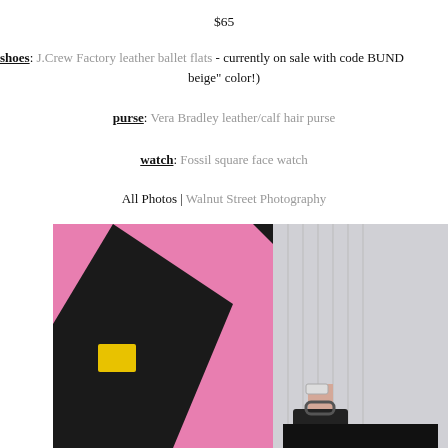$65
shoes: J.Crew Factory leather ballet flats - currently on sale with code BUND... beige" color!)
purse: Vera Bradley leather/calf hair purse
watch: Fossil square face watch
All Photos | Walnut Street Photography
[Figure (photo): Person wearing a grey cable-knit sweater holding a black bag in front of a pink and black mural wall]